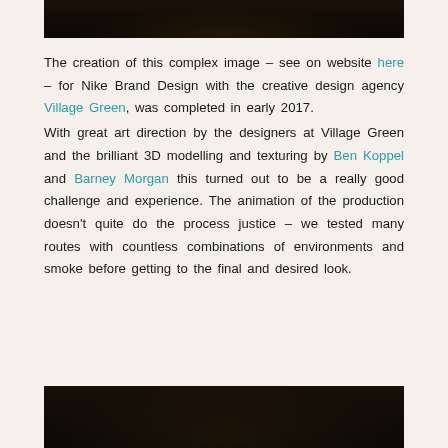[Figure (photo): Dark atmospheric image, partial view at top of page, appears to be a dimly lit scene with orange/gold light streaks]
The creation of this complex image – see on website here – for Nike Brand Design with the creative design agency Village Green, was completed in early 2017. With great art direction by the designers at Village Green and the brilliant 3D modelling and texturing by Ben Koppel and Barney Morgan this turned out to be a really good challenge and experience. The animation of the production doesn't quite do the process justice – we tested many routes with countless combinations of environments and smoke before getting to the final and desired look.
[Figure (photo): Dark atmospheric image at bottom of page, partial view, appears to be a dimly lit scene with grid-like structures]